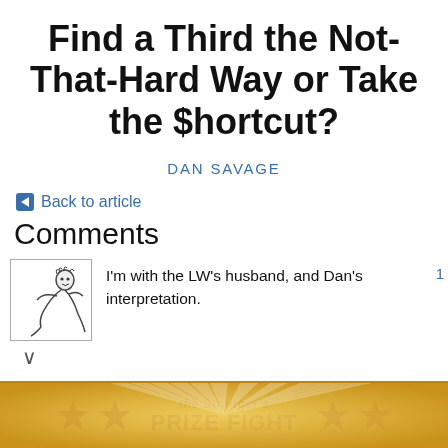Find a Third the Not-That-Hard Way or Take the $hortcut?
DAN SAVAGE
← Back to article
Comments
[Figure (illustration): User avatar: hand-drawn style sketch of a person]
I'm with the LW's husband, and Dan's interpretation.
[Figure (other): The Stranger's PRIZE FIGHT banner ad with stars]